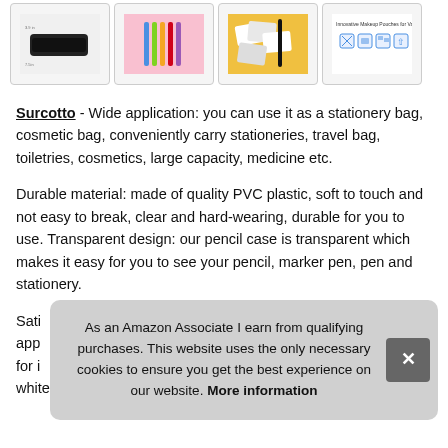[Figure (photo): Four product thumbnail images of pencil cases and stationery bags]
Surcotto - Wide application: you can use it as a stationery bag, cosmetic bag, conveniently carry stationeries, travel bag, toiletries, cosmetics, large capacity, medicine etc.
Durable material: made of quality PVC plastic, soft to touch and not easy to break, clear and hard-wearing, durable for you to use. Transparent design: our pencil case is transparent which makes it easy for you to see your pencil, marker pen, pen and stationery.
Sati... app... for i... white pencil pouches for you to meet your demands in your
As an Amazon Associate I earn from qualifying purchases. This website uses the only necessary cookies to ensure you get the best experience on our website. More information